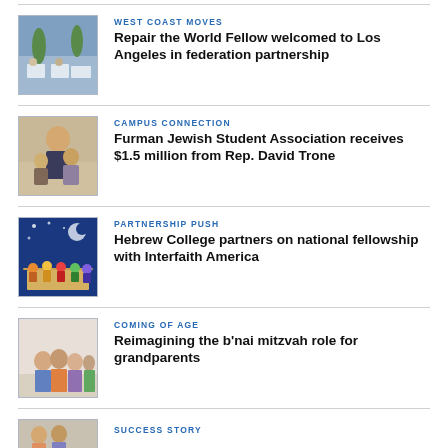[Figure (photo): Outdoor scene with people seated at tables, palm trees in background]
WEST COAST MOVES
Repair the World Fellow welcomed to Los Angeles in federation partnership
[Figure (photo): Person leaning over to greet or speak with seated individuals indoors]
CAMPUS CONNECTION
Furman Jewish Student Association receives $1.5 million from Rep. David Trone
[Figure (illustration): Colorful illustration of people gathered around a table at night with moon and stars]
PARTNERSHIP PUSH
Hebrew College partners on national fellowship with Interfaith America
[Figure (photo): Group of people posing together, light background]
COMING OF AGE
Reimagining the b'nai mitzvah role for grandparents
[Figure (photo): Partial thumbnail image visible at bottom]
SUCCESS STORY